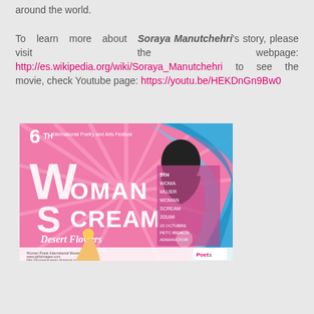around the world.

To learn more about Soraya Manutchehri's story, please visit the webpage: http://es.wikipedia.org/wiki/Soraya_Manutchehri to see the movie, check Youtube page: https://youtu.be/HEKDnGn9Bw0
[Figure (illustration): Promotional poster for the 6th International Poetry and Arts Festival - Woman Scream, Desert Flowers, March 2016. Pink background with sunburst rays, stylized text reading 'Woman Scream' with large W and S letters, a blue flowing scarf/hijab on the right side, and a hand holding a flower at the bottom. Includes Women Poets International Movement logos.]